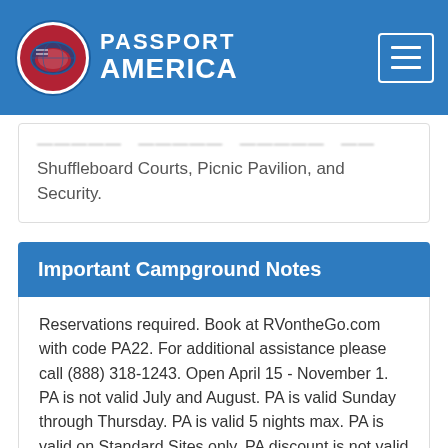Passport America
Shuffleboard Courts, Picnic Pavilion, and Security.
Important Campground Notes
Reservations required. Book at RVontheGo.com with code PA22. For additional assistance please call (888) 318-1243. Open April 15 - November 1. PA is not valid July and August. PA is valid Sunday through Thursday. PA is valid 5 nights max. PA is valid on Standard Sites only. PA discount is not valid during special events, holidays and holiday weekends. PA discount cannot be combined with any other discounts. *Daily rates subject to change without notification. $4.00 additional charge per day Resort